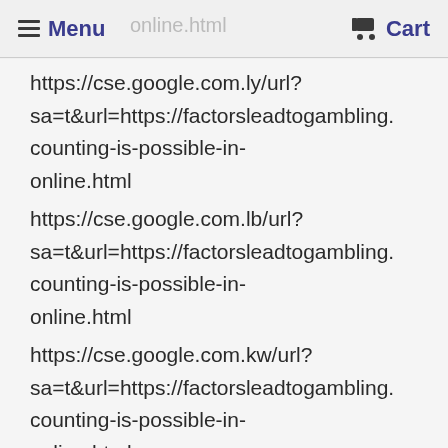Menu | online.html | Cart
https://cse.google.com.ly/url?sa=t&url=https://factorsleadtogambling.counting-is-possible-in-online.html
https://cse.google.com.lb/url?sa=t&url=https://factorsleadtogambling.counting-is-possible-in-online.html
https://cse.google.com.kw/url?sa=t&url=https://factorsleadtogambling.counting-is-possible-in-online.html